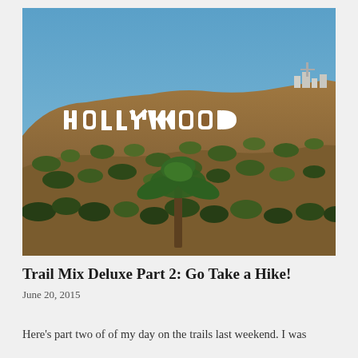[Figure (photo): Photograph of the Hollywood sign on a hillside with blue sky and sparse vegetation and a palm tree in the foreground]
Trail Mix Deluxe Part 2: Go Take a Hike!
June 20, 2015
Here's part two of of my day on the trails last weekend. I was